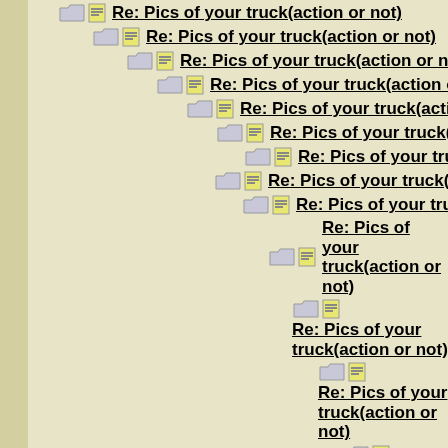Re: Pics of your truck(action or not)
Re: Pics of your truck(action or not)
Re: Pics of your truck(action or not)
Re: Pics of your truck(action or not)
Re: Pics of your truck(action or not)
Re: Pics of your truck(action or not)
Re: Pics of your truck(action or not)
Re: Pics of your truck(action or not)
Re: Pics of your truck(action or not)
Re: Pics of your truck(action or not)
Re: Pics of your truck(action or not)
Re: Pics of your truck(action or not)
Re: Pics of your truck(action or not)
Re: Pics of your truck(action or not)
Re: Pics of your truck(action or not)